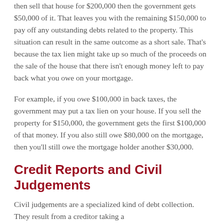then sell that house for $200,000 then the government gets $50,000 of it. That leaves you with the remaining $150,000 to pay off any outstanding debts related to the property. This situation can result in the same outcome as a short sale. That's because the tax lien might take up so much of the proceeds on the sale of the house that there isn't enough money left to pay back what you owe on your mortgage.
For example, if you owe $100,000 in back taxes, the government may put a tax lien on your house. If you sell the property for $150,000, the government gets the first $100,000 of that money. If you also still owe $80,000 on the mortgage, then you'll still owe the mortgage holder another $30,000.
Credit Reports and Civil Judgements
Civil judgements are a specialized kind of debt collection. They result from a creditor taking a...